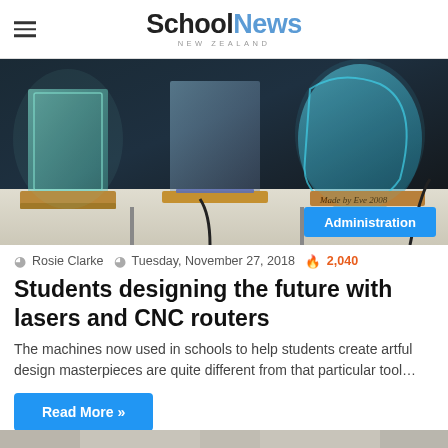School News NEW ZEALAND
[Figure (photo): Photo of laser-cut and CNC-routed acrylic art pieces displayed on a white table with wooden bases, glowing in teal/green light. An 'Administration' badge overlay is visible in the bottom right corner.]
Rosie Clarke  Tuesday, November 27, 2018  2,040
Students designing the future with lasers and CNC routers
The machines now used in schools to help students create artful design masterpieces are quite different from that particular tool…
Read More »